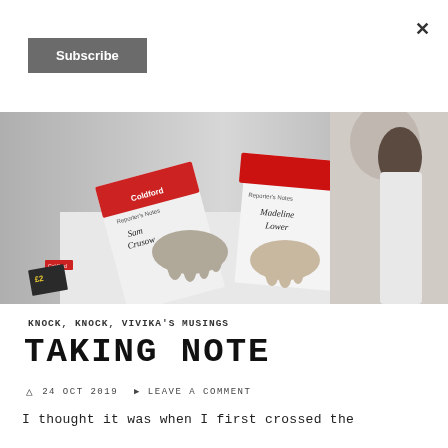×
Subscribe
[Figure (photo): Black and white photo showing two people holding notebooks labeled 'Reporter's Notes' with names 'Sam Crusow' and 'Madeline Lower', with colorful Coldford-branded stickers visible.]
KNOCK, KNOCK, VIVIKA'S MUSINGS
TAKING NOTE
24 OCT 2019   LEAVE A COMMENT
I thought it was when I first crossed the